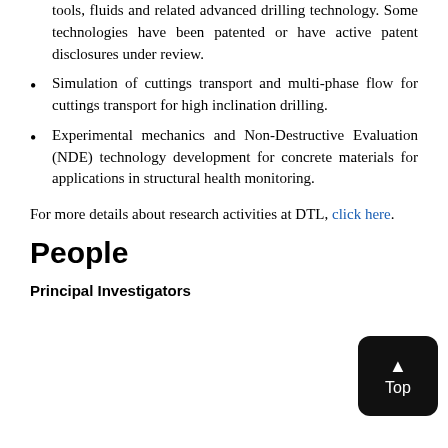tools, fluids and related advanced drilling technology. Some technologies have been patented or have active patent disclosures under review.
Simulation of cuttings transport and multi-phase flow for cuttings transport for high inclination drilling.
Experimental mechanics and Non-Destructive Evaluation (NDE) technology development for concrete materials for applications in structural health monitoring.
For more details about research activities at DTL, click here.
People
Principal Investigators